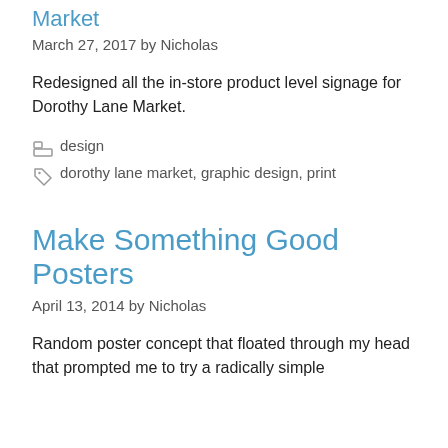Market
March 27, 2017 by Nicholas
Redesigned all the in-store product level signage for Dorothy Lane Market.
Categories: design
Tags: dorothy lane market, graphic design, print
Make Something Good Posters
April 13, 2014 by Nicholas
Random poster concept that floated through my head that prompted me to try a radically simple